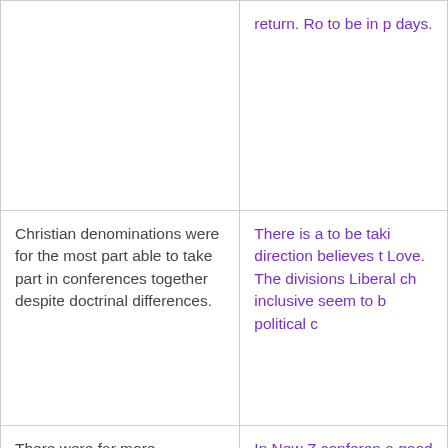|  | return. Ro to be in p days. |
| Christian denominations were for the most part able to take part in conferences together despite doctrinal differences. | There is a to be taki direction believes t Love. The divisions Liberal ch inclusive seem to b political c |
| There were far more conferences and really good speakers, with fellowship/worship etc. | In New Z conferen a good o |